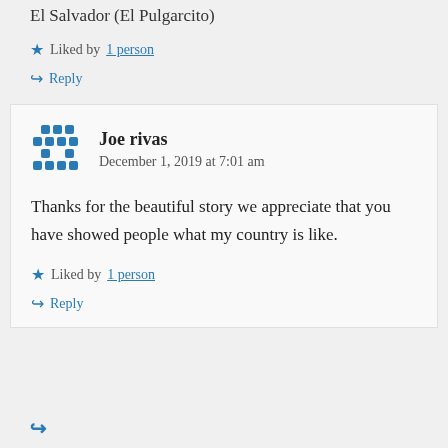El Salvador (El Pulgarcito)
Liked by 1 person
Reply
Joe rivas
December 1, 2019 at 7:01 am
Thanks for the beautiful story we appreciate that you have showed people what my country is like.
Liked by 1 person
Reply